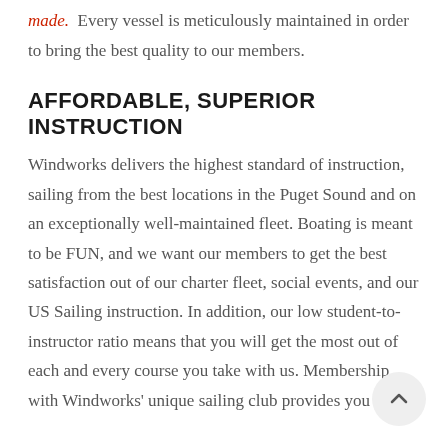made. Every vessel is meticulously maintained in order to bring the best quality to our members.
AFFORDABLE, SUPERIOR INSTRUCTION
Windworks delivers the highest standard of instruction, sailing from the best locations in the Puget Sound and on an exceptionally well-maintained fleet. Boating is meant to be FUN, and we want our members to get the best satisfaction out of our charter fleet, social events, and our US Sailing instruction. In addition, our low student-to-instructor ratio means that you will get the most out of each and every course you take with us. Membership with Windworks' unique sailing club provides you with